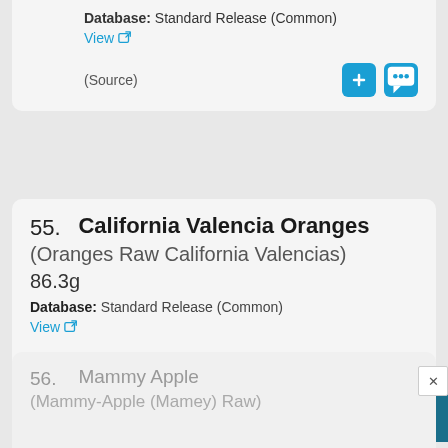Database: Standard Release (Common)
View
(Source)
55. California Valencia Oranges
(Oranges Raw California Valencias)
86.3g
Database: Standard Release (Common)
View
(Source)
56. Mammy Apple
(Mammy-Apple (Mamey) Raw)